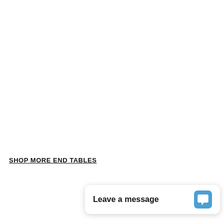SHOP MORE END TABLES
Leave a message